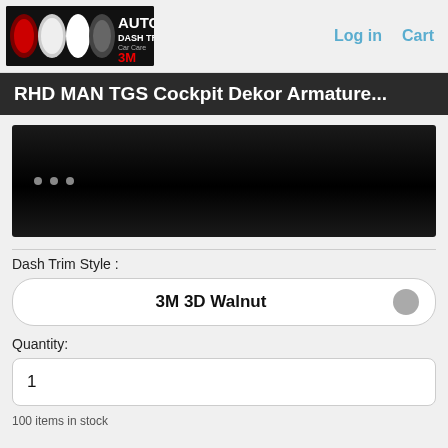Log in  Cart
[Figure (logo): Auto Dash Trims Car Care 3M logo with oval shapes on dark background]
RHD MAN TGS Cockpit Dekor Armature...
[Figure (photo): Dark product image with dot navigation indicators]
Dash Trim Style :
3M 3D Walnut
Quantity:
1
100 items in stock